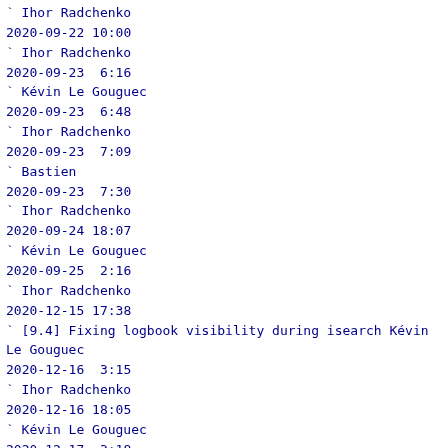` Ihor Radchenko
2020-09-22 10:00
` Ihor Radchenko
2020-09-23  6:16
` Kévin Le Gouguec
2020-09-23  6:48
` Ihor Radchenko
2020-09-23  7:09
` Bastien
2020-09-23  7:30
` Ihor Radchenko
2020-09-24 18:07
` Kévin Le Gouguec
2020-09-25  2:16
` Ihor Radchenko
2020-12-15 17:38
` [9.4] Fixing logbook visibility during isearch Kévin Le Gouguec
2020-12-16  3:15
` Ihor Radchenko
2020-12-16 18:05
` Kévin Le Gouguec
2020-12-17  3:18
` Ihor Radchenko
2020-12-17 14:50
` Kévin Le Gouguec
2020-12-18  2:23
` Ihor Radchenko
2020-12-24 23:37
` Kévin Le Gouguec